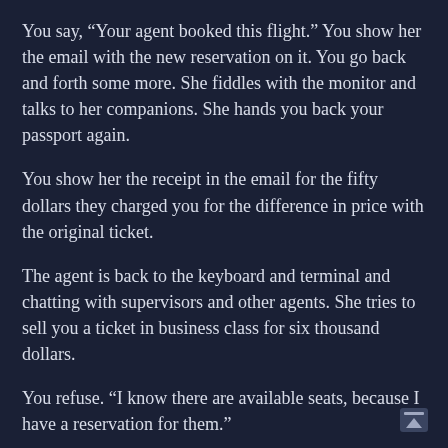You say, “Your agent booked this flight.” You show her the email with the new reservation on it. You go back and forth some more. She fiddles with the monitor and talks to her companions. She hands you back your passport again.
You show her the receipt in the email for the fifty dollars they charged you for the difference in price with the original ticket.
The agent is back to the keyboard and terminal and chatting with supervisors and other agents. She tries to sell you a ticket in business class for six thousand dollars.
You refuse. “I know there are available seats, because I have a reservation for them.”